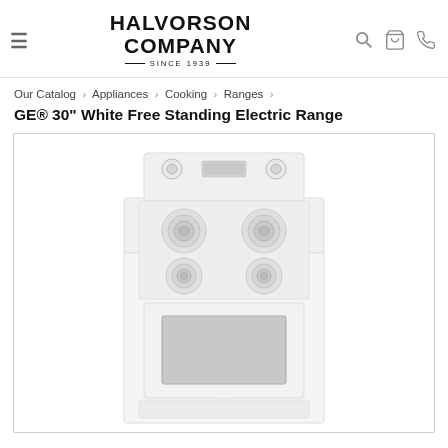Halvorson Company — Since 1939 [navigation header with hamburger menu, logo, search, cart, phone icons]
Our Catalog › Appliances › Cooking › Ranges ›
GE® 30" White Free Standing Electric Range
[Figure (photo): White GE 30-inch free standing electric range with four coil burners on top and a large oven window in the lower front, shown on white background]